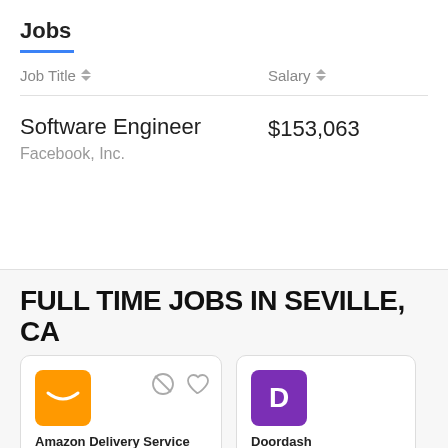Jobs
| Job Title | Salary |
| --- | --- |
| Software Engineer
Facebook, Inc. | $153,063 |
FULL TIME JOBS IN SEVILLE, CA
Amazon Delivery Service Partners
Cutler, CA
Doordash
Woodlake, CA